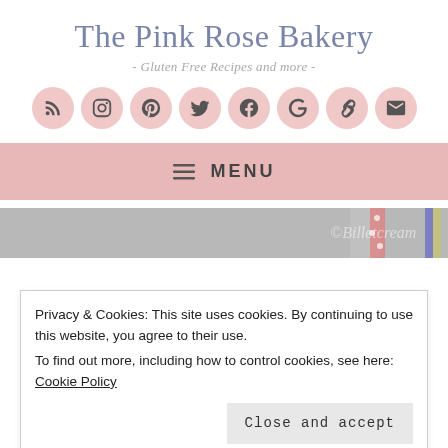The Pink Rose Bakery
- Gluten Free Recipes and more -
[Figure (infographic): Row of 8 pink circular social media icons: RSS, Instagram, Pinterest, Twitter, Facebook, Google, Link, Email]
≡ MENU
[Figure (photo): Partial image strip showing colorful cake decorations on grey background with watermark text]
Privacy & Cookies: This site uses cookies. By continuing to use this website, you agree to their use.
To find out more, including how to control cookies, see here: Cookie Policy
Close and accept
CAKES